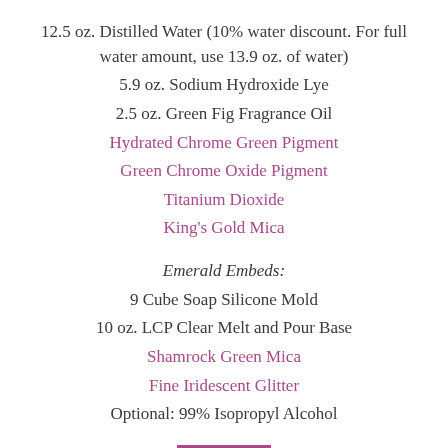12.5 oz. Distilled Water (10% water discount. For full water amount, use 13.9 oz. of water)
5.9 oz. Sodium Hydroxide Lye
2.5 oz. Green Fig Fragrance Oil
Hydrated Chrome Green Pigment
Green Chrome Oxide Pigment
Titanium Dioxide
King's Gold Mica
Emerald Embeds:
9 Cube Soap Silicone Mold
10 oz. LCP Clear Melt and Pour Base
Shamrock Green Mica
Fine Iridescent Glitter
Optional: 99% Isopropyl Alcohol
[Figure (other): Purple 'Add to' button]